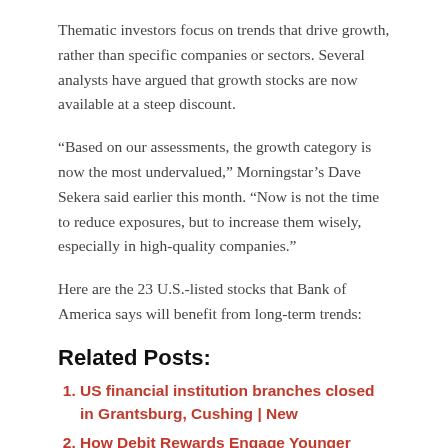Thematic investors focus on trends that drive growth, rather than specific companies or sectors. Several analysts have argued that growth stocks are now available at a steep discount.
“Based on our assessments, the growth category is now the most undervalued,” Morningstar’s Dave Sekera said earlier this month. “Now is not the time to reduce exposures, but to increase them wisely, especially in high-quality companies.”
Here are the 23 U.S.-listed stocks that Bank of America says will benefit from long-term trends:
Related Posts:
US financial institution branches closed in Grantsburg, Cushing | New
How Debit Rewards Engage Younger Consumers
Millennial investors prioritize ESG commitments from consulting firms